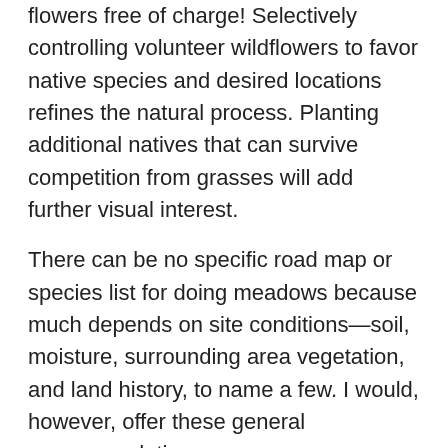flowers free of charge! Selectively controlling volunteer wildflowers to favor native species and desired locations refines the natural process. Planting additional natives that can survive competition from grasses will add further visual interest.
There can be no specific road map or species list for doing meadows because much depends on site conditions—soil, moisture, surrounding area vegetation, and land history, to name a few. I would, however, offer these general recommendations:
Hand-pull undesirables early and often to control invasives and manage desirable volunteers (most easily done when soil is rain- saturated and soft).